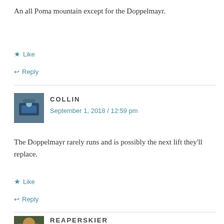An all Poma mountain except for the Doppelmayr.
★ Like
↩ Reply
[Figure (photo): Avatar photo of commenter Collin showing machinery/lift equipment]
COLLIN
September 1, 2018 / 12:59 pm
The Doppelmayr rarely runs and is possibly the next lift they'll replace.
★ Like
↩ Reply
[Figure (photo): Avatar photo of commenter ReaperSkier showing outdoor/ski scene]
REAPERSKIER
September 2, 2018 / 7:06 pm